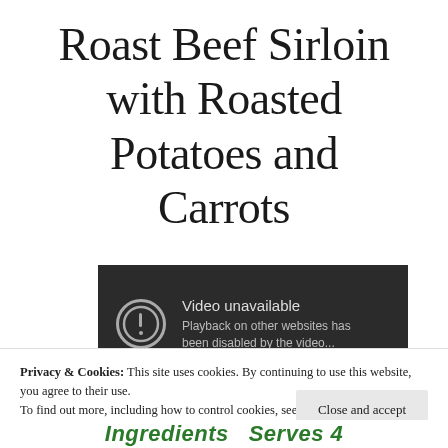Roast Beef Sirloin with Roasted Potatoes and Carrots
[Figure (screenshot): Video unavailable overlay on dark background with circle icon. Text reads: 'Video unavailable. Playback on other websites has been disabled by the video...']
Privacy & Cookies: This site uses cookies. By continuing to use this website, you agree to their use.
To find out more, including how to control cookies, see here: Our Cookie Policy
Close and accept
Ingredients   Serves 4